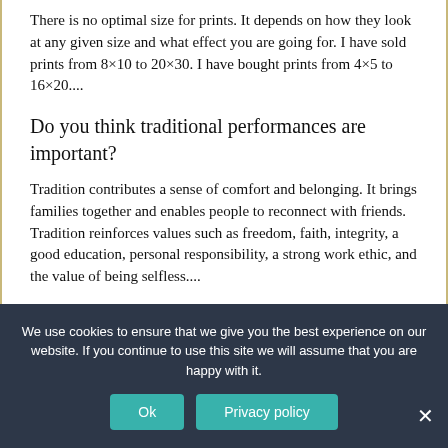There is no optimal size for prints. It depends on how they look at any given size and what effect you are going for. I have sold prints from 8×10 to 20×30. I have bought prints from 4×5 to 16×20....
Do you think traditional performances are important?
Tradition contributes a sense of comfort and belonging. It brings families together and enables people to reconnect with friends. Tradition reinforces values such as freedom, faith, integrity, a good education, personal responsibility, a strong work ethic, and the value of being selfless....
How much should I charge for drawings?
We use cookies to ensure that we give you the best experience on our website. If you continue to use this site we will assume that you are happy with it.